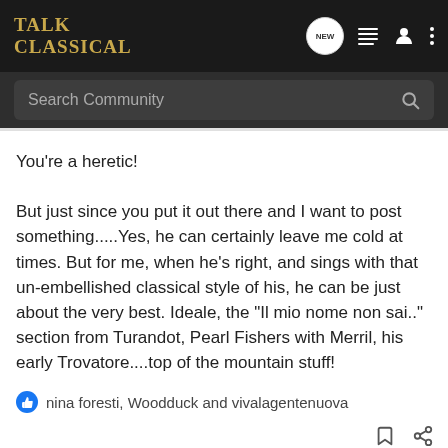Talk Classical
Search Community
You're a heretic!

But just since you put it out there and I want to post something.....Yes, he can certainly leave me cold at times. But for me, when he's right, and sings with that un-embellished classical style of his, he can be just about the very best. Ideale, the "Il mio nome non sai.." section from Turandot, Pearl Fishers with Merril, his early Trovatore....top of the mountain stuff!
nina foresti, Woodduck and vivalagentenuova
Woodduck · Registered
Joined Mar 17, 2014 · 19,962 Posts